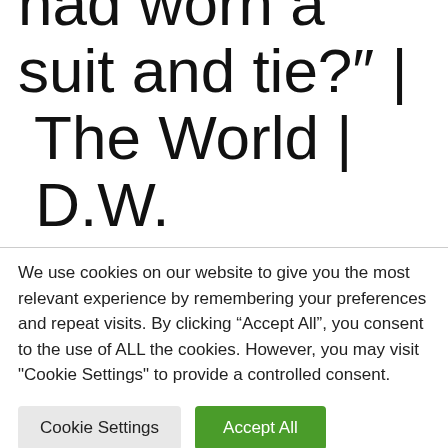this have happened if I had worn a suit and tie?″ | The World | D.W.
We use cookies on our website to give you the most relevant experience by remembering your preferences and repeat visits. By clicking “Accept All”, you consent to the use of ALL the cookies. However, you may visit "Cookie Settings" to provide a controlled consent.